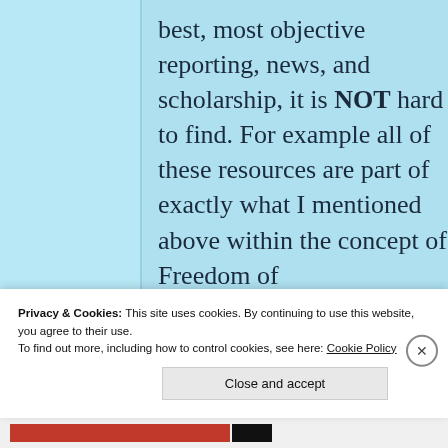best, most objective reporting, news, and scholarship, it is NOT hard to find. For example all of these resources are part of exactly what I mentioned above within the concept of Freedom of
Privacy & Cookies: This site uses cookies. By continuing to use this website, you agree to their use.
To find out more, including how to control cookies, see here: Cookie Policy
Close and accept